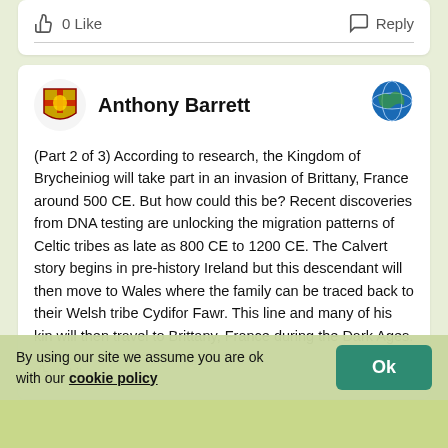0 Like
Reply
Anthony Barrett
(Part 2 of 3) According to research, the Kingdom of Brycheiniog will take part in an invasion of Brittany, France around 500 CE. But how could this be? Recent discoveries from DNA testing are unlocking the migration patterns of Celtic tribes as late as 800 CE to 1200 CE. The Calvert story begins in pre-history Ireland but this descendant will then move to Wales where the family can be traced back to their Welsh tribe Cydifor Fawr. This line and many of his kin will then travel to Brittany, France during the Dark Ages.
1 Like
Reply
By using our site we assume you are ok with our cookie policy